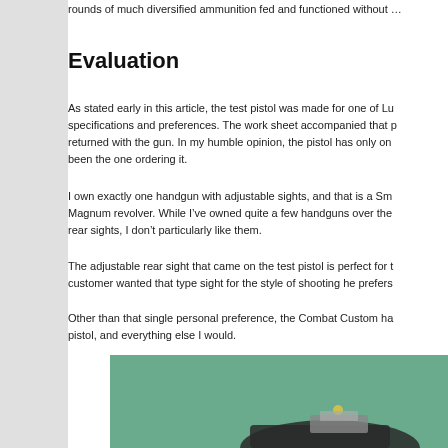rounds of much diversified ammunition fed and functioned without...
Evaluation
As stated early in this article, the test pistol was made for one of Lu... specifications and preferences. The work sheet accompanied that p... returned with the gun. In my humble opinion, the pistol has only on... been the one ordering it.
I own exactly one handgun with adjustable sights, and that is a Sm... Magnum revolver. While I've owned quite a few handguns over the... rear sights, I don't particularly like them.
The adjustable rear sight that came on the test pistol is perfect for t... customer wanted that type sight for the style of shooting he prefers...
Other than that single personal preference, the Combat Custom ha... pistol, and everything else I would.
[Figure (photo): Close-up photo of a pistol rear sight against a green background]